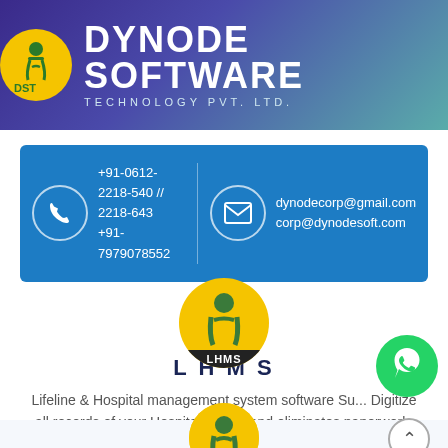DYNODE SOFTWARE TECHNOLOGY PVT. LTD.
+91-0612-2218-540 // 2218-643 +91-7979078552
dynodecorp@gmail.com corp@dynodesoft.com
LHMS
Lifeline & Hospital management system software Su... Digitize all records of your Hospital/Clinics and eliminates paperwork, manages appointment and patho... Read more
More Details >